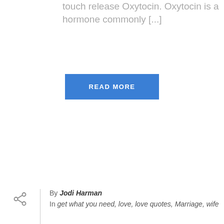touch release Oxytocin. Oxytocin is a hormone commonly [...]
READ MORE
By Jodi Harman
In get what you need, love, love quotes, Marriage, wife